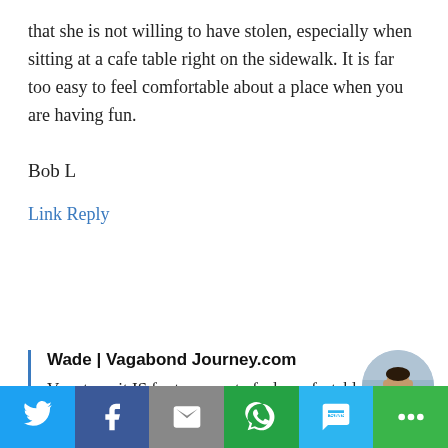that she is not willing to have stolen, especially when sitting at a cafe table right on the sidewalk. It is far too easy to feel comfortable about a place when you are having fun.
Bob L
Link Reply
Wade | Vagabond Journey.com
Very true, it IS far too easy to feel comfortable when you are having fun. This is the turn key of beach towns, and why I
[Figure (other): Social sharing bar with icons for Twitter, Facebook, Email, WhatsApp, SMS, and More]